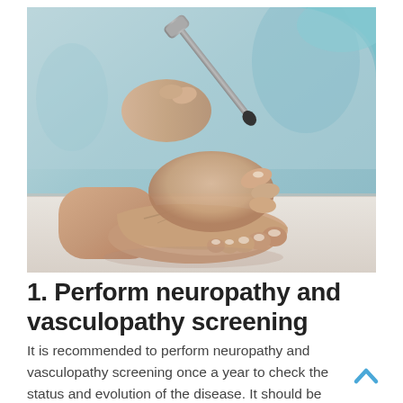[Figure (photo): A medical professional in a teal/light blue uniform using a reflex hammer to examine a patient's foot. The clinician's hands are holding the patient's foot while tapping with the neurological hammer, suggesting a neuropathy screening procedure.]
1. Perform neuropathy and vasculopathy screening
It is recommended to perform neuropathy and vasculopathy screening once a year to check the status and evolution of the disease. It should be noted that, in patients at risk, it is advisable to do it